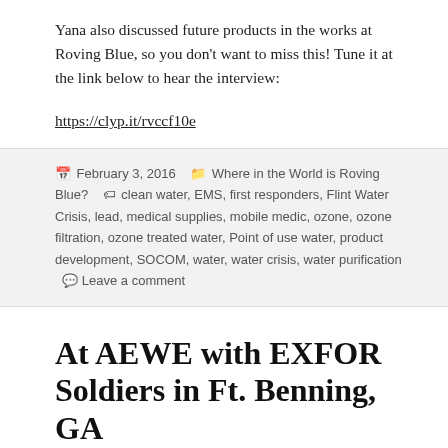Yana also discussed future products in the works at Roving Blue, so you don't want to miss this!  Tune it at the link below to hear the interview:
https://clyp.it/rvccf10e
February 3, 2016   Where in the World is Roving Blue?   clean water, EMS, first responders, Flint Water Crisis, lead, medical supplies, mobile medic, ozone, ozone filtration, ozone treated water, Point of use water, product development, SOCOM, water, water crisis, water purification   Leave a comment
At AEWE with EXFOR Soldiers in Ft. Benning, GA Part 2